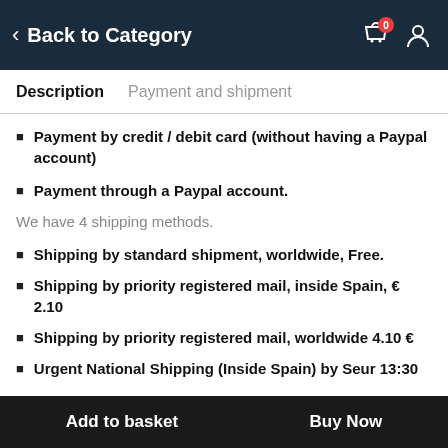Back to Category
Description   Payment and shipment
Payment by credit / debit card (without having a Paypal account)
Payment through a Paypal account.
We have 4 shipping methods.
Shipping by standard shipment, worldwide, Free.
Shipping by priority registered mail, inside Spain, € 2.10
Shipping by priority registered mail, worldwide 4.10 €
Urgent National Shipping (Inside Spain) by Seur 13:30
Add to basket   Buy Now